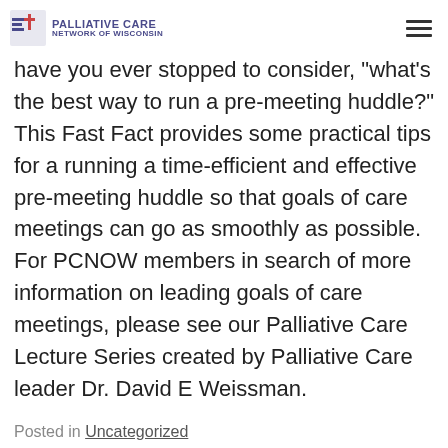PALLIATIVE CARE NETWORK OF WISCONSIN
have you ever stopped to consider, "what's the best way to run a pre-meeting huddle?" This Fast Fact provides some practical tips for a running a time-efficient and effective pre-meeting huddle so that goals of care meetings can go as smoothly as possible. For PCNOW members in search of more information on leading goals of care meetings, please see our Palliative Care Lecture Series created by Palliative Care leader Dr. David E Weissman.
Posted in Uncategorized